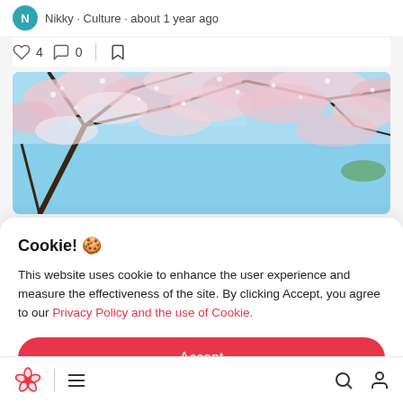Nikky · Culture · about 1 year ago
♡ 4   ☐ 0   🔖
[Figure (photo): Cherry blossom tree branches full of pink and white flowers against a blue sky]
Cookie! 🍪
This website uses cookie to enhance the user experience and measure the effectiveness of the site. By clicking Accept, you agree to our Privacy Policy and the use of Cookie.
Accept
flowers  with a picnic
🌸 ≡ 🔍 👤